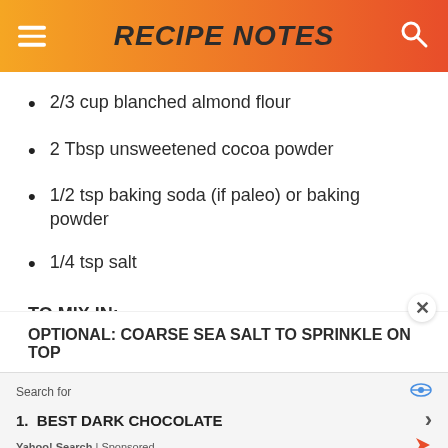RECIPE NOTES
2/3 cup blanched almond flour
2 Tbsp unsweetened cocoa powder
1/2 tsp baking soda (if paleo) or baking powder
1/4 tsp salt
TO MIX IN:
2/3 cup additional chocolate chips or chopped chocolate (can sub nuts)
OPTIONAL: COARSE SEA SALT TO SPRINKLE ON TOP
Search for
1. BEST DARK CHOCOLATE
Yahoo! Search | Sponsored